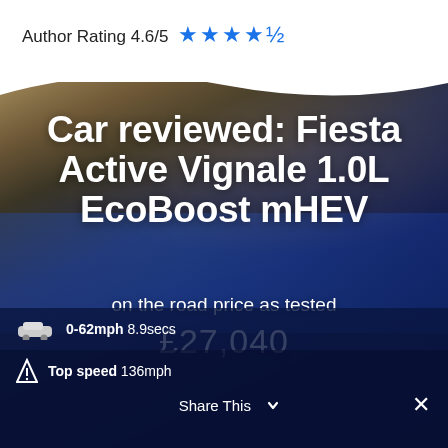Author Rating 4.6/5 ★★★★☆
[Figure (photo): Blue Ford Fiesta Active Vignale car driving on a road, blurred motion background. Overlaid with text showing car model and price details.]
Car reviewed: Fiesta Active Vignale 1.0L EcoBoost mHEV
on the road price as tested
£27,040
0-62mph 8.9secs
Top speed 136mph
Share This